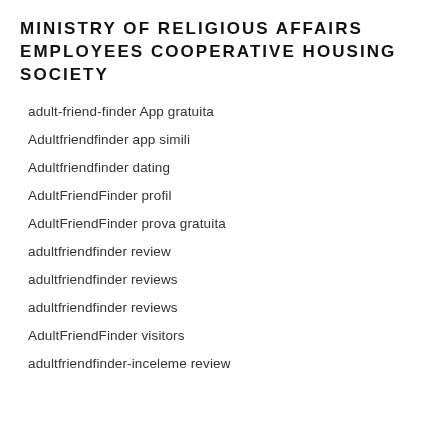MINISTRY OF RELIGIOUS AFFAIRS EMPLOYEES COOPERATIVE HOUSING SOCIETY
adult-friend-finder App gratuita
Adultfriendfinder app simili
Adultfriendfinder dating
AdultFriendFinder profil
AdultFriendFinder prova gratuita
adultfriendfinder review
adultfriendfinder reviews
adultfriendfinder reviews
AdultFriendFinder visitors
adultfriendfinder-inceleme review